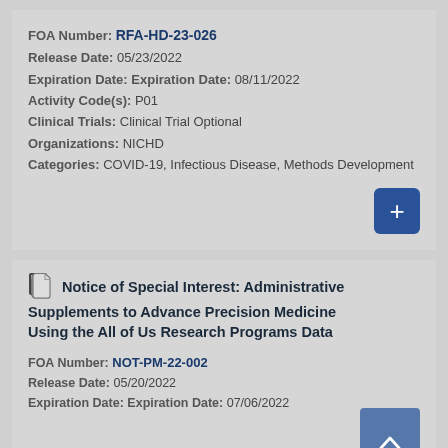FOA Number: RFA-HD-23-026
Release Date: 05/23/2022
Expiration Date: Expiration Date: 08/11/2022
Activity Code(s): P01
Clinical Trials: Clinical Trial Optional
Organizations: NICHD
Categories: COVID-19, Infectious Disease, Methods Development
Notice of Special Interest: Administrative Supplements to Advance Precision Medicine Using the All of Us Research Programs Data
FOA Number: NOT-PM-22-002
Release Date: 05/20/2022
Expiration Date: Expiration Date: 07/06/2022